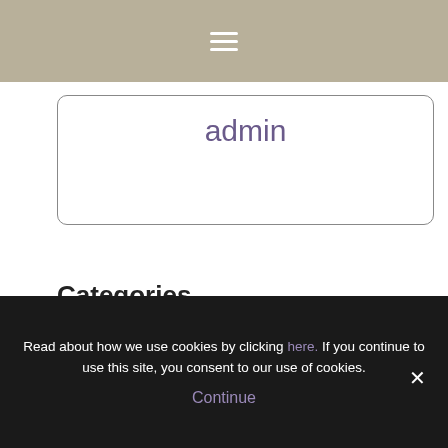≡ (hamburger menu icon)
admin
Categories
Attractions
Beaches
Blog
Read about how we use cookies by clicking here. If you continue to use this site, you consent to our use of cookies.
Continue